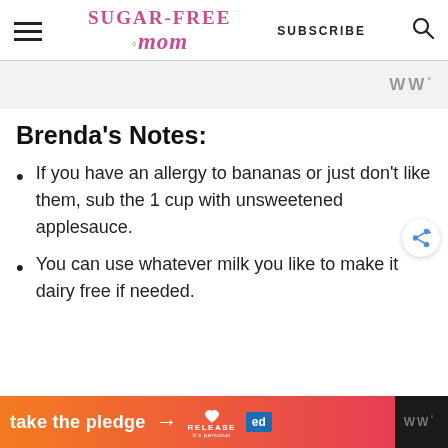Sugar-Free Mom — SUBSCRIBE
Brenda's Notes:
If you have an allergy to bananas or just don't like them, sub the 1 cup with unsweetened applesauce.
You can use whatever milk you like to make it dairy free if needed.
[Figure (other): Orange to pink gradient ad banner reading 'take the pledge' with arrow, Release logo, and ed logo]
take the pledge